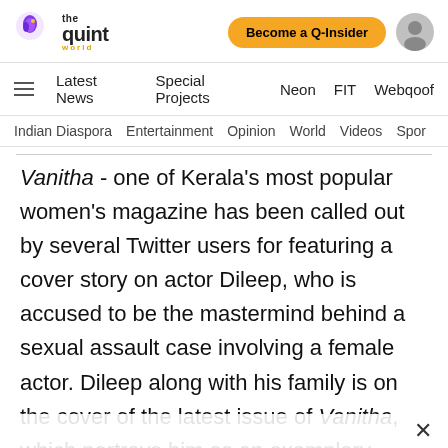The Quint World | Become a Q-Insider
Latest News  Special Projects  Neon  FIT  Webqoof
Indian Diaspora  Entertainment  Opinion  World  Videos  Spor
Vanitha - one of Kerala's most popular women's magazine has been called out by several Twitter users for featuring a cover story on actor Dileep, who is accused to be the mastermind behind a sexual assault case involving a female actor. Dileep along with his family is on the cover of the latest issue of Vanitha, which portrays him as an exemplary family man. This issue comes just days after the survivor in the sexual assault wrote to the